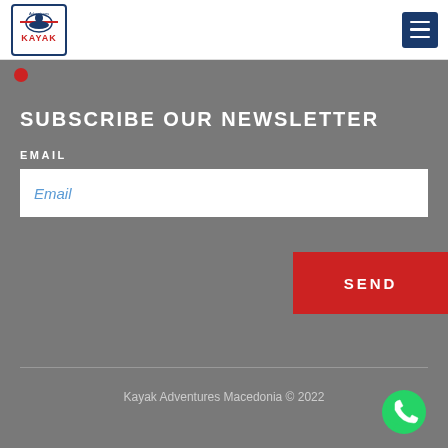Kayak Adventures Macedonia logo and navigation
SUBSCRIBE OUR NEWSLETTER
EMAIL
Email
SEND
Kayak Adventures Macedonia © 2022